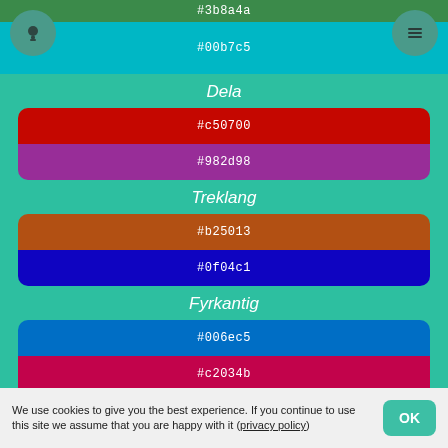[Figure (screenshot): Color palette app screenshot showing color swatches with hex codes, section labels Dela, Treklang, Fyrkantig, icon buttons, and a cookie consent bar]
#3b8a4a
#00b7c5
Dela
#c50700
#982d98
Treklang
#b25013
#0f04c1
Fyrkantig
#006ec5
#c2034b
We use cookies to give you the best experience. If you continue to use this site we assume that you are happy with it (privacy policy)